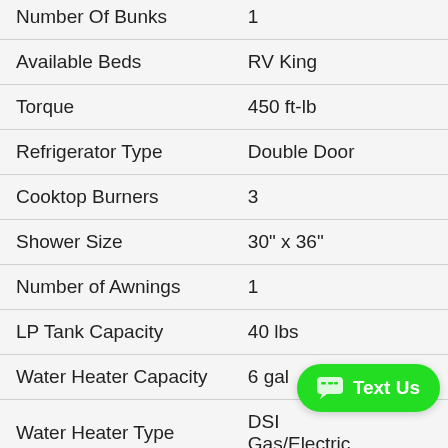| Feature | Value |
| --- | --- |
| Number Of Bunks | 1 |
| Available Beds | RV King |
| Torque | 450 ft-lb |
| Refrigerator Type | Double Door |
| Cooktop Burners | 3 |
| Shower Size | 30" x 36" |
| Number of Awnings | 1 |
| LP Tank Capacity | 40 lbs |
| Water Heater Capacity | 6 gal |
| Water Heater Type | DSI Gas/Electric |
| Basement Storage | 55.5 cu. ft. |
| TV Info | Cab 40" TV w/... |
| Awning Info | 20' Power |